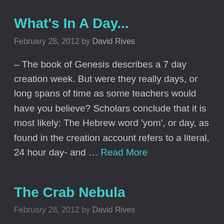What's In A Day...
February 28, 2012 by David Rives
– The book of Genesis describes a 7 day creation week. But were they really days, or long spans of time as some teachers would have you believe? Scholars conclude that it is most likely: The Hebrew word 'yom', or day, as found in the creation account refers to a literal, 24 hour day- and … Read More
The Crab Nebula
February 28, 2012 by David Rives